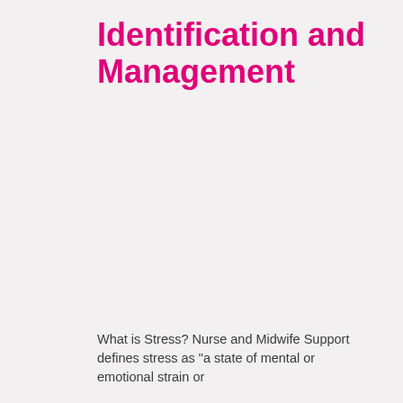Identification and Management
What is Stress? Nurse and Midwife Support defines stress as "a state of mental or emotional strain or